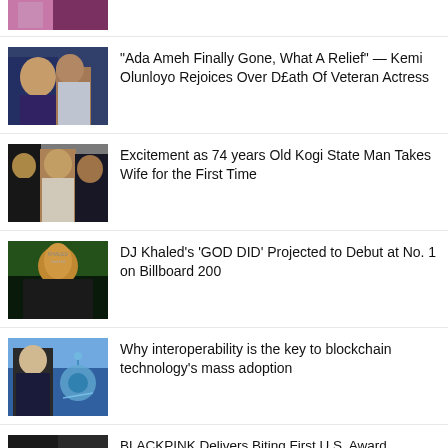[Figure (photo): Partial photo of women in colorful clothing, cropped at top]
[Figure (photo): Photo of women including one holding a sign, wearing patterned clothing]
"Ada Ameh Finally Gone, What A Relief" — Kemi Olunloyo Rejoices Over D£ath Of Veteran Actress
[Figure (photo): Group of people outdoors, elderly man in the center]
Excitement as 74 years Old Kogi State Man Takes Wife for the First Time
[Figure (photo): DJ Khaled album cover - God Did, man looking up against green background]
DJ Khaled's 'GOD DID' Projected to Debut at No. 1 on Billboard 200
[Figure (photo): Man in suit with blockchain/technology graphic overlay]
Why interoperability is the key to blockchain technology's mass adoption
[Figure (photo): BLACKPINK photo, partially visible]
BLACKPINK Delivers Biting First U.S. Award...